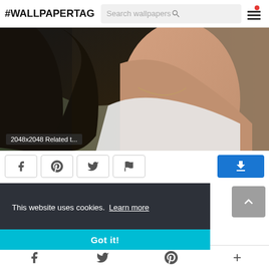#WALLPAPERTAG
[Figure (photo): A woman with dark hair wearing a white top and necklace, photographed outdoors with blurred green and brown background. A semi-transparent label at the bottom reads '2048x2048 Related t...']
This website uses cookies. Learn more
Got it!
Social media icons: Facebook, Twitter, Pinterest, Plus